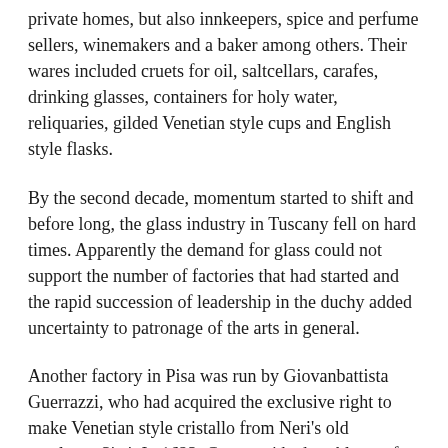private homes, but also innkeepers, spice and perfume sellers, winemakers and a baker among others. Their wares included cruets for oil, saltcellars, carafes, drinking glasses, containers for holy water, reliquaries, gilded Venetian style cups and English style flasks.
By the second decade, momentum started to shift and before long, the glass industry in Tuscany fell on hard times. Apparently the demand for glass could not support the number of factories that had started and the rapid succession of leadership in the duchy added uncertainty to patronage of the arts in general.
Another factory in Pisa was run by Giovanbattista Guerrazzi, who had acquired the exclusive right to make Venetian style cristallo from Neri's old employer Sisti. In 1623, Guerrazzi had problems of a different sort, not directly related to the sales of glass. He appealed to Pisa's Office of Rivers and Ditches, pleading with them to